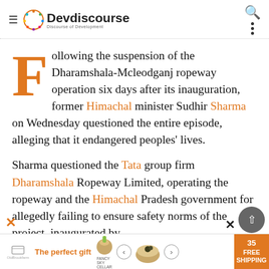Devdiscourse – Discourse of Development
Following the suspension of the Dharamshala-Mcleodganj ropeway operation six days after its inauguration, former Himachal minister Sudhir Sharma on Wednesday questioned the entire episode, alleging that it endangered peoples' lives.
Sharma questioned the Tata group firm Dharamshala Ropeway Limited, operating the ropeway and the Himachal Pradesh government for allegedly failing to ensure safety norms of the project, inaugurated by
[Figure (screenshot): Advertisement banner at the bottom: The perfect gift, with navigation arrows and a food image, and FREE SHIPPING tag]